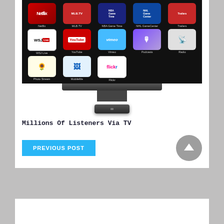[Figure (screenshot): Apple TV interface showing app grid with Netflix, MLBTV, NBA Game Time, NHL GameCenter, Trailers in top row; WSJ Live, YouTube, Vimeo, Podcasts, Radio in second row; Photo Stream, MobileMe, Flickr in third row. Apple TV device shown below a TV stand.]
Millions Of Listeners Via TV
PREVIOUS POST